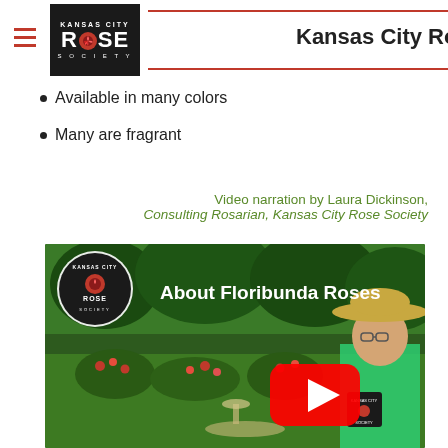Kansas City Rose Society
Available in many colors
Many are fragrant
Video narration by Laura Dickinson, Consulting Rosarian, Kansas City Rose Society
[Figure (screenshot): YouTube video thumbnail showing a woman in a green apron and sun hat standing in a rose garden, with the title 'About Floribunda Roses' and a YouTube play button overlay. Kansas City Rose Society logo in the top-left corner.]